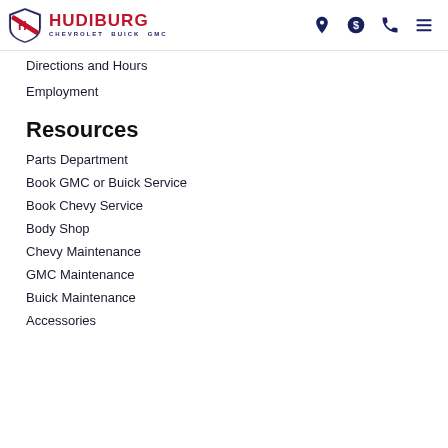Hudiburg Chevrolet Buick GMC
Directions and Hours
Employment
Resources
Parts Department
Book GMC or Buick Service
Book Chevy Service
Body Shop
Chevy Maintenance
GMC Maintenance
Buick Maintenance
Accessories